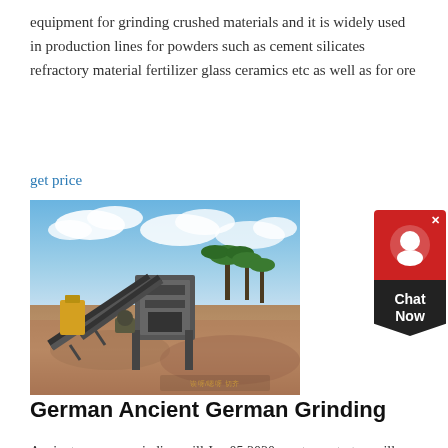equipment for grinding crushed materials and it is widely used in production lines for powders such as cement silicates refractory material fertilizer glass ceramics etc as well as for ore
get price
[Figure (photo): Outdoor industrial grinding/crushing equipment setup with conveyor belts and heavy machinery on reddish soil with blue sky and palm trees in background]
German Ancient German Grinding
Ancient germany grinding mill.Jan 05 2020 most countertop mills can make flour from a wide variety of dry cereals and legumes and some models will also have the ability to process